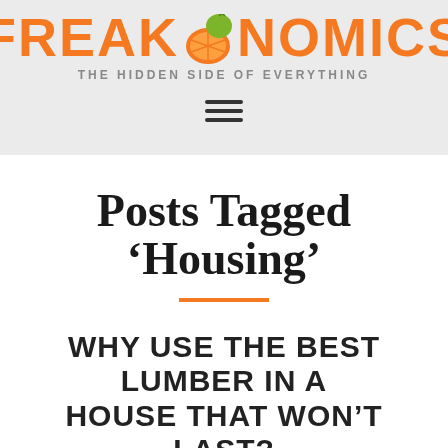FREAKONOMICS — THE HIDDEN SIDE OF EVERYTHING
Posts Tagged ‘Housing’
WHY USE THE BEST LUMBER IN A HOUSE THAT WON’T LAST?